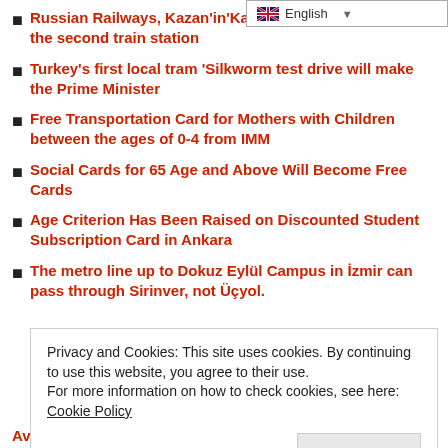Russian Railways, Kazan'in'Kazan-1' is planning to open the second train station
Turkey's first local tram 'Silkworm test drive will make the Prime Minister
Free Transportation Card for Mothers with Children between the ages of 0-4 from IMM
Social Cards for 65 Age and Above Will Become Free Cards
Age Criterion Has Been Raised on Discounted Student Subscription Card in Ankara
The metro line up to Dokuz Eylül Campus in İzmir can pass through Sirinver, not Üçyol.
Privacy and Cookies: This site uses cookies. By continuing to use this website, you agree to their use.
For more information on how to check cookies, see here: Cookie Policy
Available